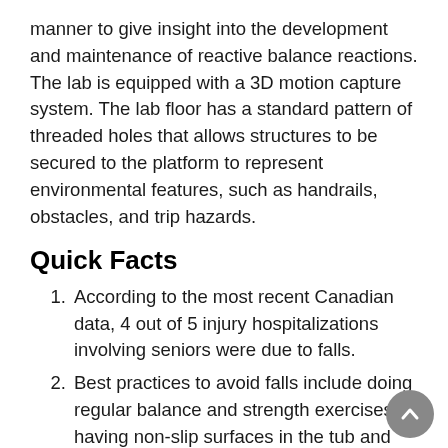manner to give insight into the development and maintenance of reactive balance reactions. The lab is equipped with a 3D motion capture system. The lab floor has a standard pattern of threaded holes that allows structures to be secured to the platform to represent environmental features, such as handrails, obstacles, and trip hazards.
Quick Facts
According to the most recent Canadian data, 4 out of 5 injury hospitalizations involving seniors were due to falls.
Best practices to avoid falls include doing regular balance and strength exercises, having non-slip surfaces in the tub and shower, and asking for help with tasks that can't be done safely alone.
Just over one-third of Canadians, aged 65 and older (34%), reported being concerned about a